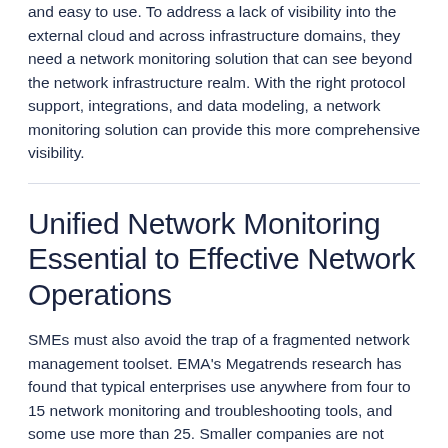and easy to use. To address a lack of visibility into the external cloud and across infrastructure domains, they need a network monitoring solution that can see beyond the network infrastructure realm. With the right protocol support, integrations, and data modeling, a network monitoring solution can provide this more comprehensive visibility.
Unified Network Monitoring Essential to Effective Network Operations
SMEs must also avoid the trap of a fragmented network management toolset. EMA's Megatrends research has found that typical enterprises use anywhere from four to 15 network monitoring and troubleshooting tools, and some use more than 25. Smaller companies are not immune to this tool sprawl. In fact, 31% of small enterprises use 11 to 15 network monitoring and troubleshooting tools.